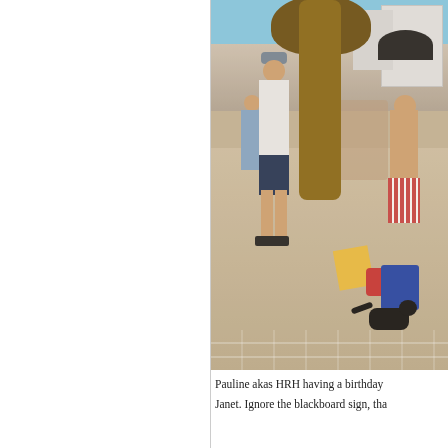[Figure (photo): Outdoor photo showing people on a paved plaza area near a large tree trunk. A person in a white t-shirt, dark shorts, and dark shoes stands in the foreground. Other people are visible in the background. A black cat walks across the paving stones. Colorful items including a yellow chair and red container are visible. Buildings and a black umbrella/shade are in the background.]
Pauline akas HRH having a birthday
Janet. Ignore the blackboard sign, tha